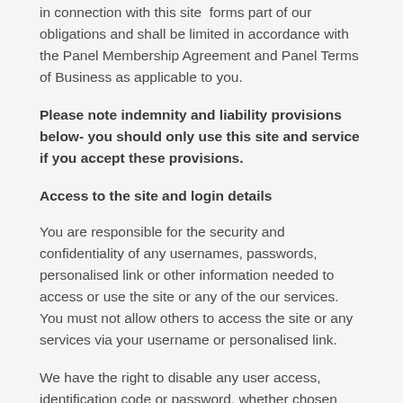in connection with this site  forms part of our obligations and shall be limited in accordance with the Panel Membership Agreement and Panel Terms of Business as applicable to you.
Please note indemnity and liability provisions below- you should only use this site and service if you accept these provisions.
Access to the site and login details
You are responsible for the security and confidentiality of any usernames, passwords, personalised link or other information needed to access or use the site or any of the our services. You must not allow others to access the site or any services via your username or personalised link.
We have the right to disable any user access, identification code or password, whether chosen